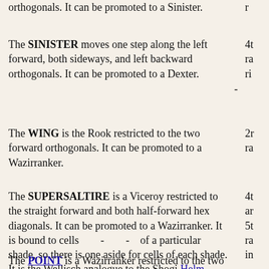orthogonals. It can be promoted to a Sinister.
The SINISTER moves one step along the left forward, both sideways, and left backward orthogonals. It can be promoted to a Dexter.
The WING is the Rook restricted to the two forward orthogonals. It can be promoted to a Wazirranker.
The SUPERSALTIRE is a Viceroy restricted to the straight forward and both half-forward hex diagonals. It can be promoted to a Wazirranker. It is bound to cells of a particular shade, so there is one aside for cells of each shade. It is the Wellisch analogue to the Shogi Helm.
The POINT is a Wazirranker restricted to the two forward...